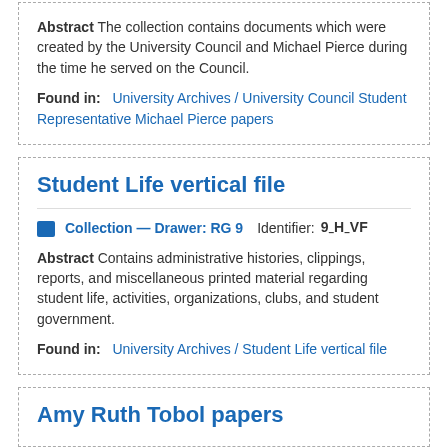Abstract The collection contains documents which were created by the University Council and Michael Pierce during the time he served on the Council.
Found in: University Archives / University Council Student Representative Michael Pierce papers
Student Life vertical file
Collection — Drawer: RG 9  Identifier: 9_H_VF
Abstract Contains administrative histories, clippings, reports, and miscellaneous printed material regarding student life, activities, organizations, clubs, and student government.
Found in: University Archives / Student Life vertical file
Amy Ruth Tobol papers